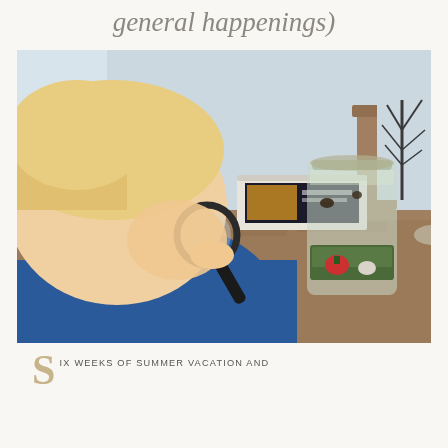general happenings)
[Figure (photo): A young blonde toddler boy in a blue shirt leans forward looking through a magnifying glass at a glass jar terrarium on a granite countertop. Inside the jar are small snails or bugs and moss. A book and a decorative metal tree sculpture are visible in the background.]
IN WEEKS OF SUMMER VACATION AND